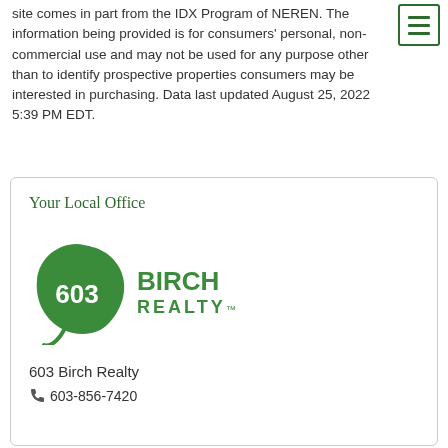site comes in part from the IDX Program of NEREN. The information being provided is for consumers' personal, non-commercial use and may not be used for any purpose other than to identify prospective properties consumers may be interested in purchasing. Data last updated August 25, 2022 5:39 PM EDT.
Your Local Office
[Figure (logo): 603 Birch Realty logo — green leaf shape with '603' in white text and 'BIRCH REALTY' in green text to the right]
603 Birch Realty
603-856-7420